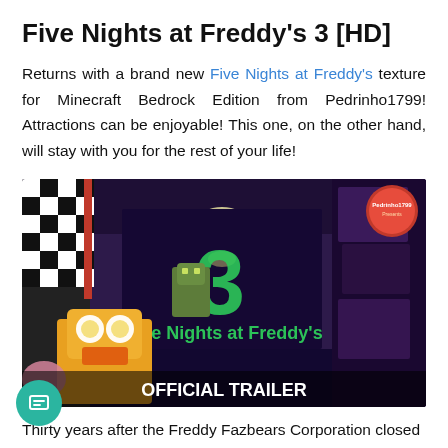Five Nights at Freddy's 3 [HD]
Returns with a brand new Five Nights at Freddy's texture for Minecraft Bedrock Edition from Pedrinho1799! Attractions can be enjoyable! This one, on the other hand, will stay with you for the rest of your life!
[Figure (screenshot): A Minecraft Bedrock Edition screenshot showing a dark hallway with checkered black-and-white walls, Springtrap character, and a Chica animatronic in the foreground. Large green number '3' and text 'Five Nights at Freddy's' displayed. Bottom text reads 'OFFICIAL TRAILER'. A circular logo watermark appears in top right corner.]
Thirty years after the Freddy Fazbears Corporation closed